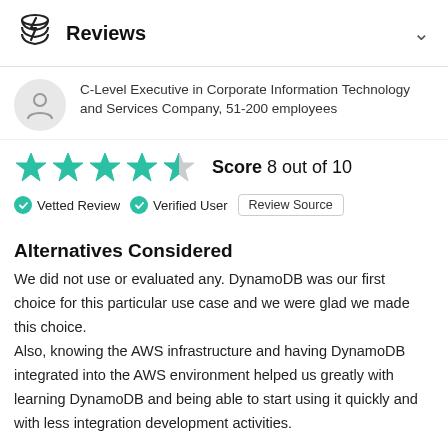Reviews
C-Level Executive in Corporate Information Technology and Services Company, 51-200 employees
[Figure (other): Star rating: 4 out of 5 teal stars (4 filled, 1 half/grey). Score 8 out of 10]
Vetted Review  Verified User  Review Source
Alternatives Considered
We did not use or evaluated any. DynamoDB was our first choice for this particular use case and we were glad we made this choice.
Also, knowing the AWS infrastructure and having DynamoDB integrated into the AWS environment helped us greatly with learning DynamoDB and being able to start using it quickly and with less integration development activities.